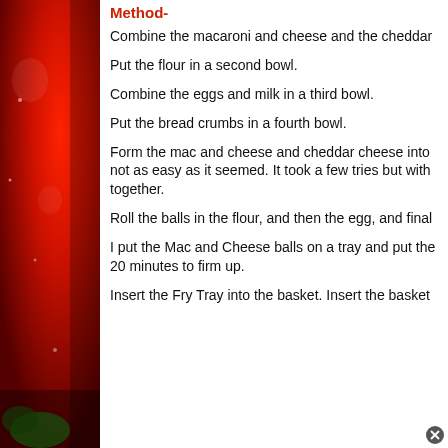[Figure (photo): Red bell pepper / vegetable photo on the left side of the page]
Method-
Combine the macaroni and cheese and the cheddar...
Put the flour in a second bowl.
Combine the eggs and milk in a third bowl.
Put the bread crumbs in a fourth bowl.
Form the mac and cheese and cheddar cheese into... not as easy as it seemed. It took a few tries but with... together.
Roll the balls in the flour, and then the egg, and final...
I put the Mac and Cheese balls on a tray and put the... 20 minutes to firm up.
Insert the Fry Tray into the basket. Insert the basket...